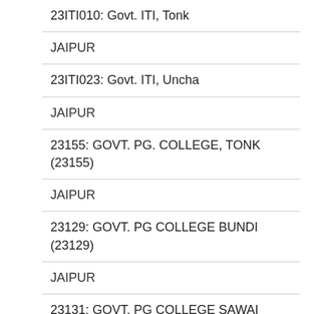| 23ITI010: Govt. ITI, Tonk |
| JAIPUR |
| 23ITI023: Govt. ITI, Uncha |
| JAIPUR |
| 23155: GOVT. PG. COLLEGE, TONK (23155) |
| JAIPUR |
| 23129: GOVT. PG COLLEGE BUNDI (23129) |
| JAIPUR |
| 23131: GOVT. PG COLLEGE SAWAI MADHOPUR (23131) |
| JAIPUR |
| 23133: GOVT. PG COLLEGE, BARAN (23133) |